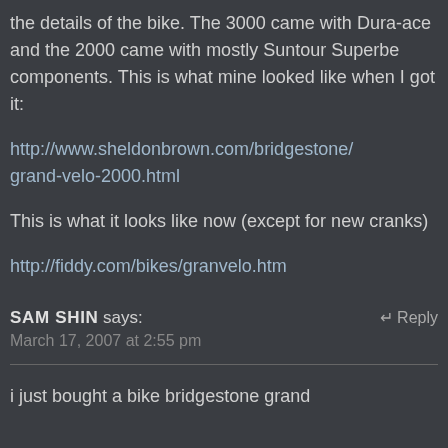the details of the bike. The 3000 came with Dura-ace and the 2000 came with mostly Suntour Superbe components. This is what mine looked like when I got it: http://www.sheldonbrown.com/bridgestone/grand-velo-2000.html This is what it looks like now (except for new cranks) http://fiddy.com/bikes/granvelo.htm
SAM SHIN says: March 17, 2007 at 2:55 pm
i just bought a bike bridgestone grand